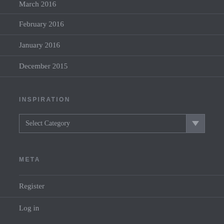March 2016
February 2016
January 2016
December 2015
INSPIRATION
Select Category
META
Register
Log in